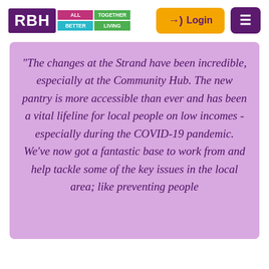[Figure (logo): RBH logo with tagline ALL TOGETHER BETTER LIVING in colored blocks]
Login
≡
“The changes at the Strand have been incredible, especially at the Community Hub. The new pantry is more accessible than ever and has been a vital lifeline for local people on low incomes - especially during the COVID-19 pandemic. We’ve now got a fantastic base to work from and help tackle some of the key issues in the local area; like preventing people